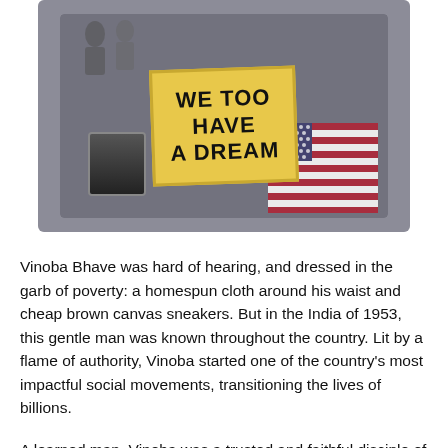[Figure (photo): A photograph displayed on a screen/tablet showing a protest sign that reads 'WE TOO HAVE A DREAM' with an image of Martin Luther King Jr. and an American flag in the background.]
Vinoba Bhave was hard of hearing, and dressed in the garb of poverty: a homespun cloth around his waist and cheap brown canvas sneakers. But in the India of 1953, this gentle man was known throughout the country. Lit by a flame of authority, Vinoba started one of the country's most impactful social movements, transitioning the lives of billions.
A learned man, Vinoba was a trusted and faithful disciple of Gandhi. His was a great...